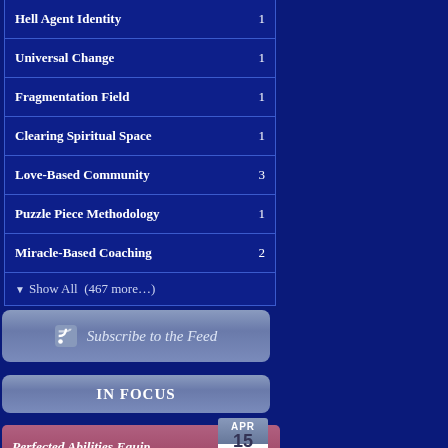Hell Agent Identity 1
Universal Change 1
Fragmentation Field 1
Clearing Spiritual Space 1
Love-Based Community 3
Puzzle Piece Methodology 1
Miracle-Based Coaching 2
▼ Show All (467 more...)
Subscribe to the Feed
IN FOCUS
Perfected Abilities Equip
APR 15